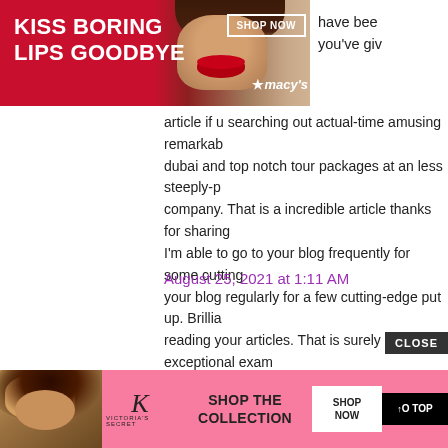[Figure (photo): Macy's advertisement banner: 'KISS BORING LIPS GOODBYE' with SHOP NOW button and Macy's star logo, featuring a model with red lips on a red/dark background]
have bee you've giv article if u searching out actual-time amusing remarkable dubai and top notch tour packages at an less steeply-p company. That is a incredible article thanks for sharing I'm able to go to your blog frequently for some cutting your blog regularly for a few cutting-edge put up. Brilli reading your articles. That is surely a exceptional exam bookmarked it and i am searching ahead to reading new art work! Thanks for the treasured facts and insights yo here.. ดูหนังออนไลน์
August 25, 2021 at 1:11 AM
Unknown said...
[Figure (logo): Blogger avatar: orange circle with letter B]
writing with fashion and getting top compliments at the honest. But you have carried out it so li... nd with s...
[Figure (photo): Victoria's Secret advertisement: model with curly hair, VS logo, SHOP THE COLLECTION, SHOP NOW button, GO TOP button, CLOSE button]